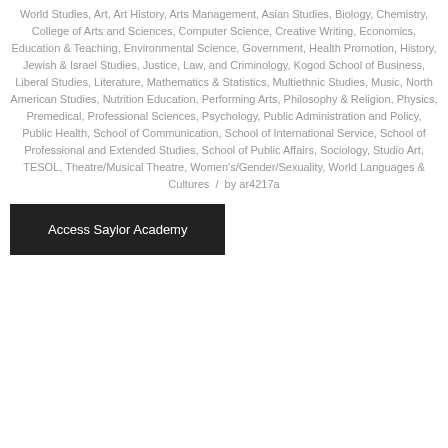World Studies, Art, Art History, Arts Management, Asian Studies, Biology, Chemistry, College of Arts and Sciences, Computer Science, Creative Writing, Economics, Education & Teaching, Environmental Science, Government, Health Promotion, History, Jewish & Israel Studies, Justice, Law, and Criminology, Kogod School of Business, Liberal Studies, Literature, Mathematics & Statistics, Multiethnic Studies, Music, North American Studies, Nutrition Education, Performing Arts, Philosophy & Religion, Physics, Premedical, Professional Sciences, Psychology, Public Administration and Policy, Public Health, School of Communication, School of International Service, School of Professional and Extended Studies, School of Public Affairs, Sociology, Studio Art, TESOL, Theatre/Musical Theatre, Women's/Gender/Sexuality, World Languages & Cultures  /  by ar4217a
Access Saylor Academy